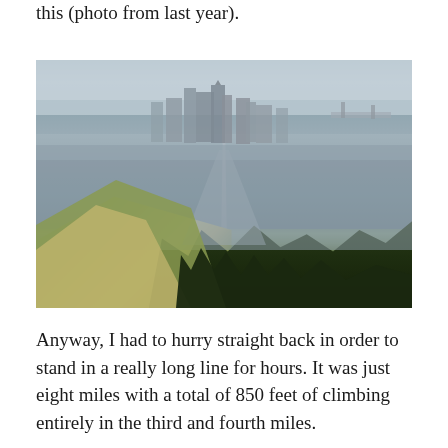this (photo from last year).
[Figure (photo): Aerial/elevated view of San Francisco cityscape from a hillside, showing dense urban neighborhoods, a straight street running toward downtown skyscrapers, Bay Bridge visible in background right, overcast sky, green hillside and dark trees in foreground.]
Anyway, I had to hurry straight back in order to stand in a really long line for hours. It was just eight miles with a total of 850 feet of climbing entirely in the third and fourth miles.